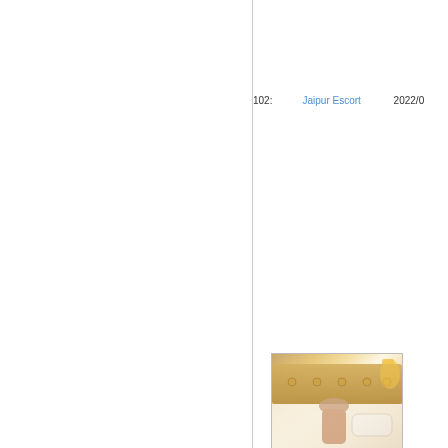102:　　　Jaipur Escort 　　　2022/0
[Figure (photo): Person sitting on a bed in a warmly lit bedroom]